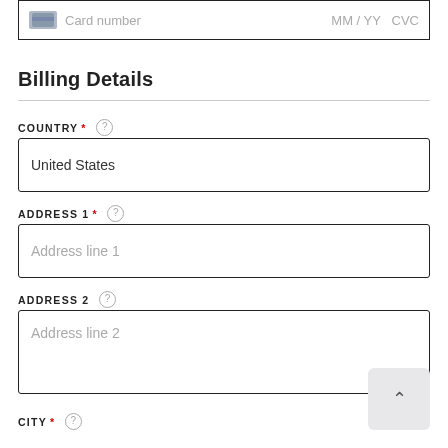Card number   MM / YY  CVC
Billing Details
COUNTRY * (?) United States
ADDRESS 1 * (?) Address line 1
ADDRESS 2 (?) Address line 2
CITY * (?)